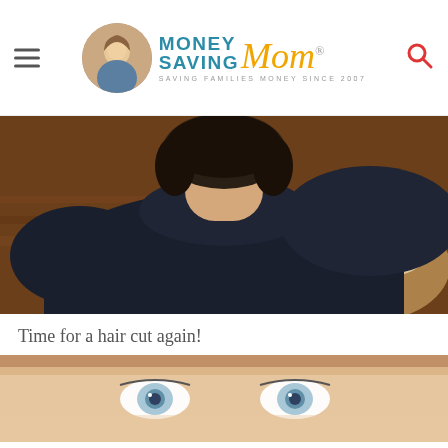MONEY SAVING Mom® — SAVING FAMILIES MONEY SINCE 2007
[Figure (photo): Back view of a person with short dark hair wearing a dark navy blue sweater, sitting on a cowhide rug on a wooden floor]
Time for a hair cut again!
[Figure (photo): Close-up partial view of a woman's face showing her eyes, with light brown hair, taken in a bathroom or indoor setting]